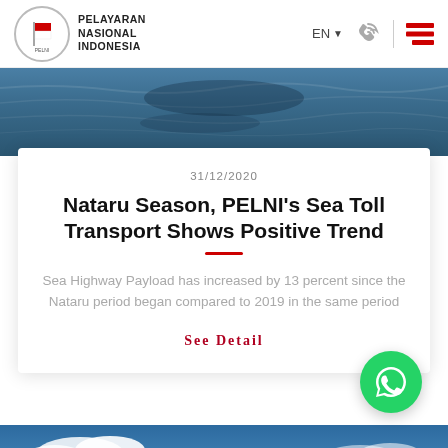PELAYARAN NASIONAL INDONESIA
[Figure (photo): Ocean water surface panoramic photo used as banner image]
31/12/2020
Nataru Season, PELNI's Sea Toll Transport Shows Positive Trend
Sea Highway Payload has increased by 13 percent since the Nataru period began compared to 2019 in the same period
See Detail
[Figure (photo): Blue sky with clouds used as bottom banner image]